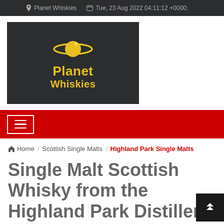Planet Whiskies   Tue, 23 Aug 2022 04:11:12 +0000;
[Figure (logo): Planet Whiskies logo: yellow Saturn planet icon above 'Planet Whiskies' text in yellow, on dark background]
[Figure (other): Red navigation bar with hamburger menu button (three white lines in white rectangle border)]
Home / Scottish Single Malts / Highland Park Single Malts
Single Malt Scottish Whisky from the Highland Park Distillery